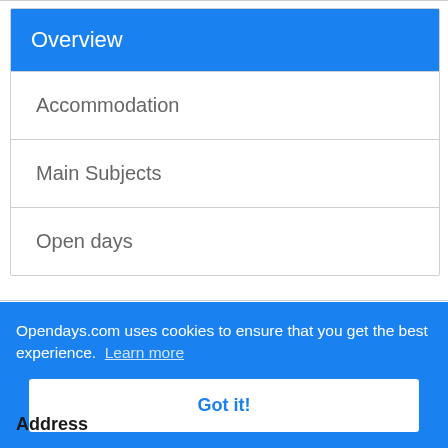Overview
Accommodation
Main Subjects
Open days
Opendays.com uses cookies to ensure that you get the best experience. Learn more
Got it!
Address